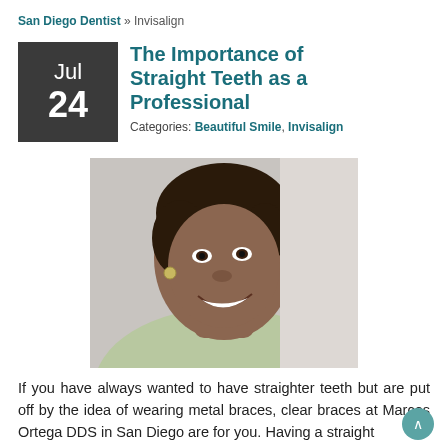San Diego Dentist » Invisalign
The Importance of Straight Teeth as a Professional
Categories: Beautiful Smile, Invisalign
[Figure (photo): Smiling young woman with straight white teeth, wearing a light green top, photographed against a light gray/white background]
If you have always wanted to have straighter teeth but are put off by the idea of wearing metal braces, clear braces at Marcos Ortega DDS in San Diego are for you. Having a straight